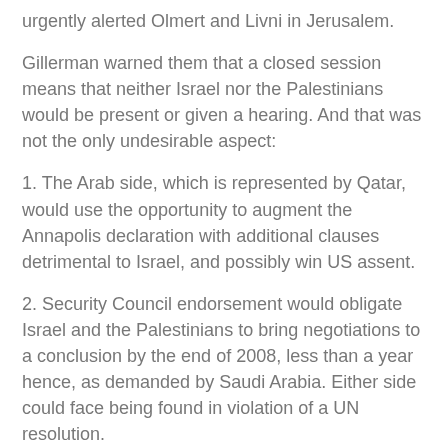urgently alerted Olmert and Livni in Jerusalem.
Gillerman warned them that a closed session means that neither Israel nor the Palestinians would be present or given a hearing. And that was not the only undesirable aspect:
1. The Arab side, which is represented by Qatar, would use the opportunity to augment the Annapolis declaration with additional clauses detrimental to Israel, and possibly win US assent.
2. Security Council endorsement would obligate Israel and the Palestinians to bring negotiations to a conclusion by the end of 2008, less than a year hence, as demanded by Saudi Arabia. Either side could face being found in violation of a UN resolution.
3. The Security Council would become the overseer of the Israeli-Palestinian peace process with authority to reconvene and weigh up